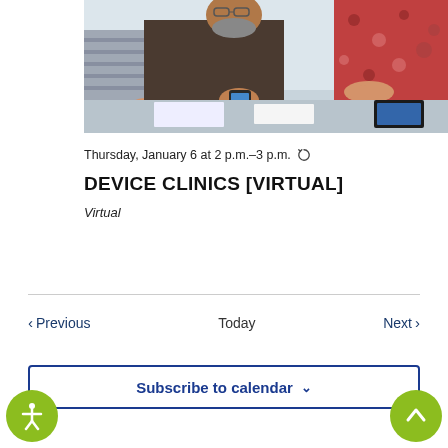[Figure (photo): People sitting at a table, one older man holding a smartphone being assisted by a woman in a floral top, another person using a tablet on the left.]
Thursday, January 6 at 2 p.m.–3 p.m.
DEVICE CLINICS [VIRTUAL]
Virtual
< Previous   Today   Next >
Subscribe to calendar  ∨